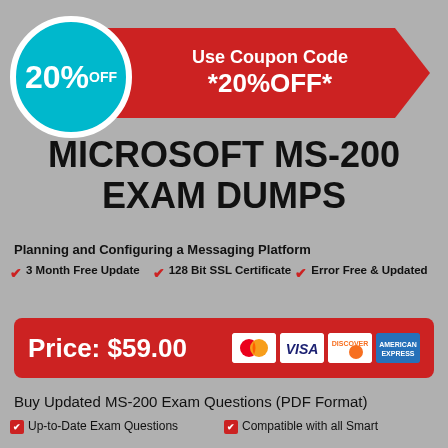[Figure (infographic): Coupon badge with teal circle showing 20% OFF and red arrow banner saying Use Coupon Code *20%OFF*]
MICROSOFT MS-200 EXAM DUMPS
Planning and Configuring a Messaging Platform
3 Month Free Update
128 Bit SSL Certificate
Error Free & Updated
Price: $59.00
Buy Updated MS-200 Exam Questions (PDF Format)
Up-to-Date Exam Questions
Compatible with all Smart